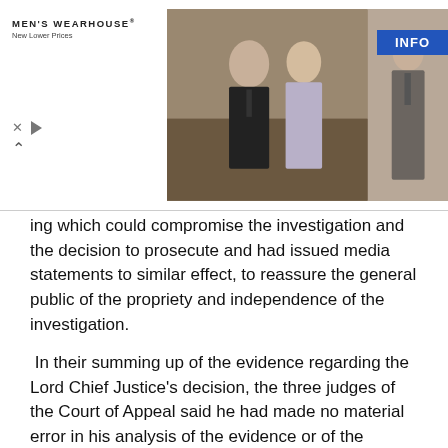[Figure (photo): Advertisement banner for Men's Wearhouse featuring a couple in formal wear and a man in a suit, with MEN'S WEARHOUSE branding, New Lower Prices tagline, and an INFO button. Close and play controls visible.]
ing which could compromise the investigation and the decision to prosecute and had issued media statements to similar effect, to reassure the general public of the propriety and independence of the investigation.
In their summing up of the evidence regarding the Lord Chief Justice's decision, the three judges of the Court of Appeal said he had made no material error in his analysis of the evidence or of the conduct of the investigation.
The appeal was therefore dismissed.
Lod Tu'ivakano was ordered to pay costs to the Police Commissioner, the Attorney General and the Kingdom of